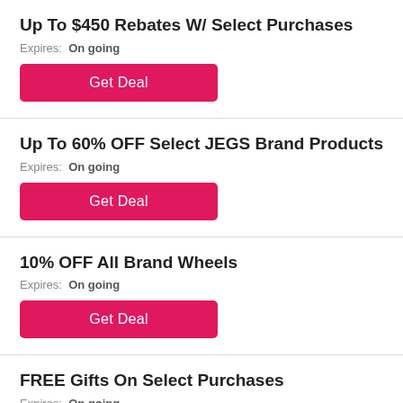Up To $450 Rebates W/ Select Purchases
Expires: On going
Get Deal
Up To 60% OFF Select JEGS Brand Products
Expires: On going
Get Deal
10% OFF All Brand Wheels
Expires: On going
Get Deal
FREE Gifts On Select Purchases
Expires: On going
Get Deal